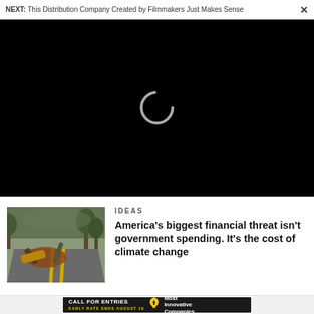NEXT: This Distribution Company Created by Filmmakers Just Makes Sense ✕
[Figure (screenshot): Black video player area with a loading spinner (partial circle) in the center]
IDEAS
America's biggest financial threat isn't government spending. It's the cost of climate change
[Figure (photo): Photo of a damaged road with debris and fallen trees, flood damage scene in a forested area]
[Figure (infographic): Advertisement banner: CALL FOR ENTRIES / EARLY RATE ENDS AUGUST 19 / lightbulb icon / Most Innovative Companies]